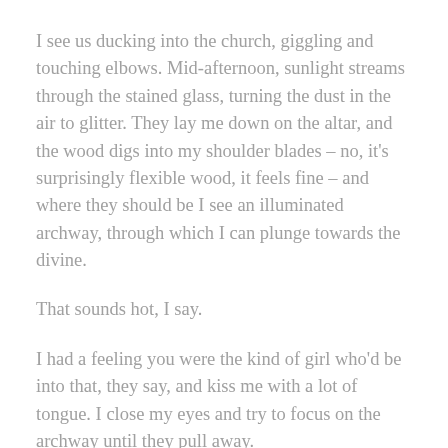I see us ducking into the church, giggling and touching elbows. Mid-afternoon, sunlight streams through the stained glass, turning the dust in the air to glitter. They lay me down on the altar, and the wood digs into my shoulder blades – no, it's surprisingly flexible wood, it feels fine – and where they should be I see an illuminated archway, through which I can plunge towards the divine.
That sounds hot, I say.
I had a feeling you were the kind of girl who'd be into that, they say, and kiss me with a lot of tongue. I close my eyes and try to focus on the archway until they pull away.
My dad is a minister, and he actually came out